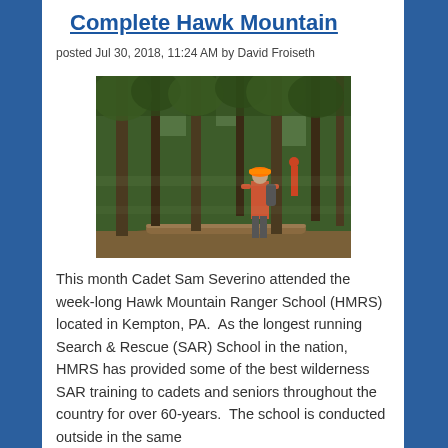Complete Hawk Mountain
posted Jul 30, 2018, 11:24 AM by David Froiseth
[Figure (photo): Person wearing an orange hard hat walking on a trail through a forest, with other people visible in background among tall trees.]
This month Cadet Sam Severino attended the week-long Hawk Mountain Ranger School (HMRS) located in Kempton, PA.  As the longest running Search & Rescue (SAR) School in the nation, HMRS has provided some of the best wilderness SAR training to cadets and seniors throughout the country for over 60-years.  The school is conducted outside in the same